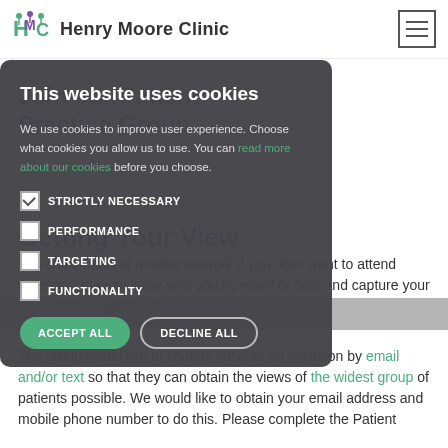Henry Moore Clinic
Join our Patient Practice Group
Getting Your View
You can be part of a wider network if you don't want to attend meetings: we can liaise with you by email or post and capture your views and suggestions.
The group would like to contact patients on occasion by email and/or text so that they can obtain the views of the widest group of patients possible. We would like to obtain your email address and mobile phone number to do this. Please complete the Patient
This website uses cookies
We use cookies to improve user experience. Choose what cookies you allow us to use. You can read more about our cookies before you choose.
STRICTLY NECESSARY
PERFORMANCE
TARGETING
FUNCTIONALITY
ACCEPT ALL  DECLINE ALL